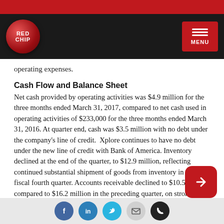RedChip - MENU
operating expenses.
Cash Flow and Balance Sheet
Net cash provided by operating activities was $4.9 million for the three months ended March 31, 2017, compared to net cash used in operating activities of $233,000 for the three months ended March 31, 2016. At quarter end, cash was $3.5 million with no debt under the company's line of credit.  Xplore continues to have no debt under the new line of credit with Bank of America. Inventory declined at the end of the quarter, to $12.9 million, reflecting continued substantial shipment of goods from inventory in the fiscal fourth quarter. Accounts receivable declined to $10.5 million, compared to $16.2 million in the preceding quarter, on strong collections.
Outlook
For fiscal 2018, Xplore provided an initial revenue outlook in a range